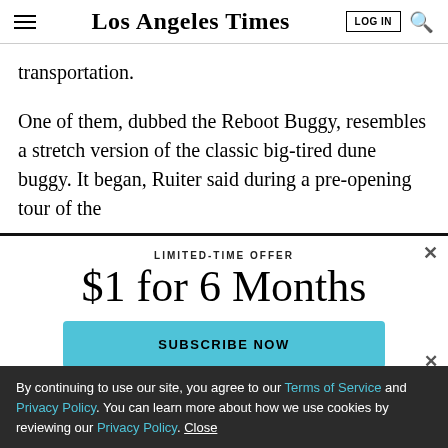Los Angeles Times
transportation.
One of them, dubbed the Reboot Buggy, resembles a stretch version of the classic big-tired dune buggy. It began, Ruiter said during a pre-opening tour of the
LIMITED-TIME OFFER
$1 for 6 Months
SUBSCRIBE NOW
By continuing to use our site, you agree to our Terms of Service and Privacy Policy. You can learn more about how we use cookies by reviewing our Privacy Policy. Close